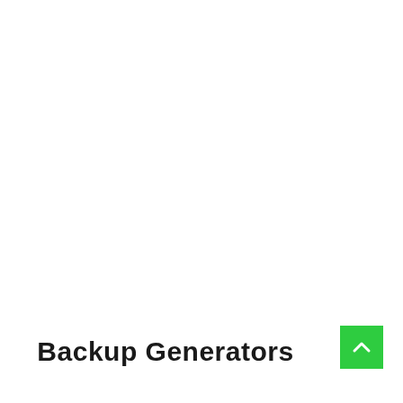Backup Generators
[Figure (other): Green scroll-to-top button with upward chevron arrow in bottom-right corner]